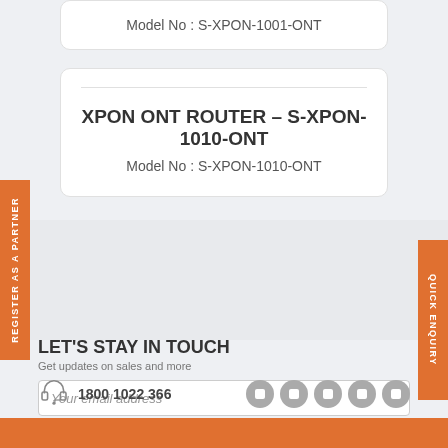Model No : S-XPON-1001-ONT
XPON ONT ROUTER – S-XPON-1010-ONT
Model No : S-XPON-1010-ONT
REGISTER AS A PARTNER
QUICK ENQUIRY
LET'S STAY IN TOUCH
Get updates on sales and more
Your email address
1800 1022 366